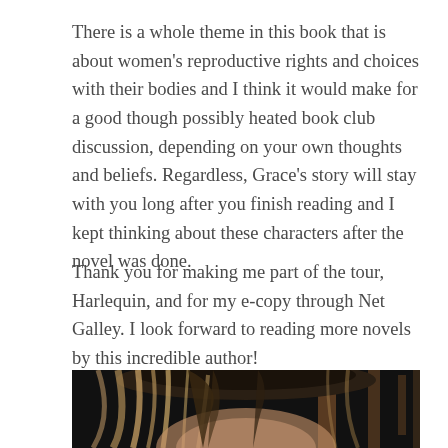There is a whole theme in this book that is about women's reproductive rights and choices with their bodies and I think it would make for a good though possibly heated book club discussion, depending on your own thoughts and beliefs. Regardless, Grace's story will stay with you long after you finish reading and I kept thinking about these characters after the novel was done.
Thank you for making me part of the tour, Harlequin, and for my e-copy through Net Galley. I look forward to reading more novels by this incredible author!
[Figure (photo): Partial photo of a woman with long blonde hair, cropped to show only the top of her head and forehead area, dark blurred background with wooden structure]